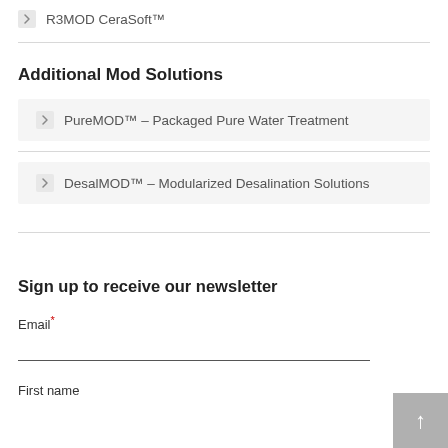R3MOD CeraSoft™
Additional Mod Solutions
PureMOD™ – Packaged Pure Water Treatment
DesalMOD™ – Modularized Desalination Solutions
Sign up to receive our newsletter
Email*
First name